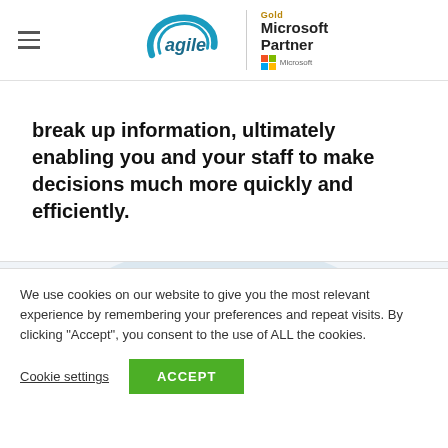[Figure (logo): Agile IT company logo with teal swoosh and 'agile' text, next to Microsoft Gold Partner badge with Microsoft squares logo]
break up information, ultimately enabling you and your staff to make decisions much more quickly and efficiently.
[Figure (illustration): Light blue curved/circular decorative background element]
We use cookies on our website to give you the most relevant experience by remembering your preferences and repeat visits. By clicking "Accept", you consent to the use of ALL the cookies.
Cookie settings
ACCEPT